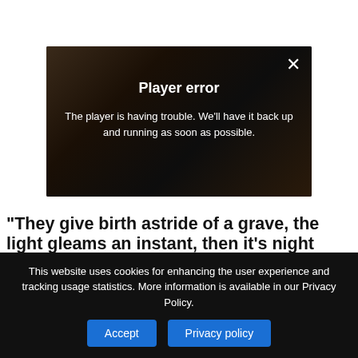[Figure (screenshot): Video player error overlay showing 'Player error' message with dark background and close X button. Message reads: The player is having trouble. We'll have it back up and running as soon as possible.]
“They give birth astride of a grave, the light gleams an instant, then it’s night once more.” The liner notes to your last solo album, A.D., start with this quote by Samuel Beckett. The album is slow and solemn, utilising a tempo of
This website uses cookies for enhancing the user experience and tracking usage statistics. More information is available in our Privacy Policy.
Accept
Privacy policy